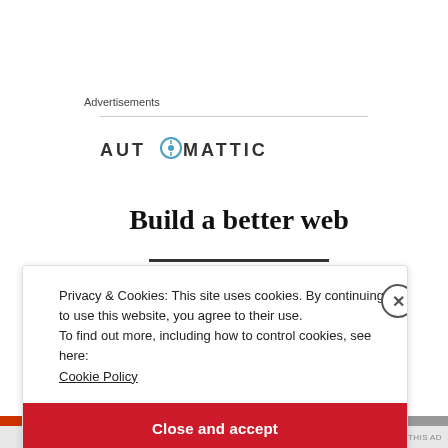Advertisements
[Figure (logo): Automattic logo — wordmark in dark gray uppercase letters with a compass/navigation icon replacing the letter O]
Build a better web
Privacy & Cookies: This site uses cookies. By continuing to use this website, you agree to their use.
To find out more, including how to control cookies, see here:
Cookie Policy
Close and accept